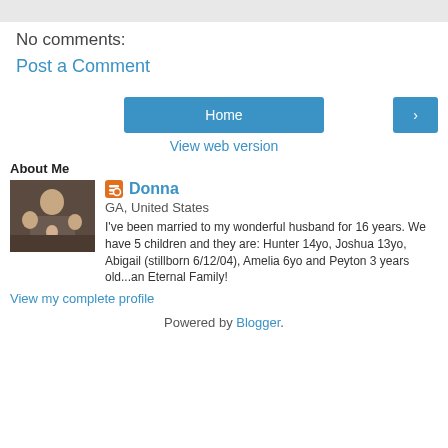No comments:
Post a Comment
Home
>
View web version
About Me
[Figure (photo): Family photo with multiple people including children]
Donna
GA, United States
I've been married to my wonderful husband for 16 years. We have 5 children and they are: Hunter 14yo, Joshua 13yo, Abigail (stillborn 6/12/04), Amelia 6yo and Peyton 3 years old...an Eternal Family!
View my complete profile
Powered by Blogger.